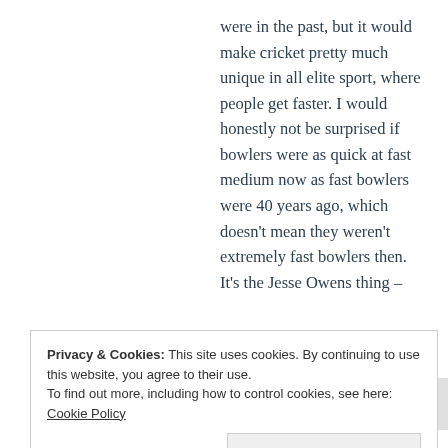were in the past, but it would make cricket pretty much unique in all elite sport, where people get faster. I would honestly not be surprised if bowlers were as quick at fast medium now as fast bowlers were 40 years ago, which doesn't mean they weren't extremely fast bowlers then. It's the Jesse Owens thing –
Privacy & Cookies: This site uses cookies. By continuing to use this website, you agree to their use.
To find out more, including how to control cookies, see here: Cookie Policy
Close and accept